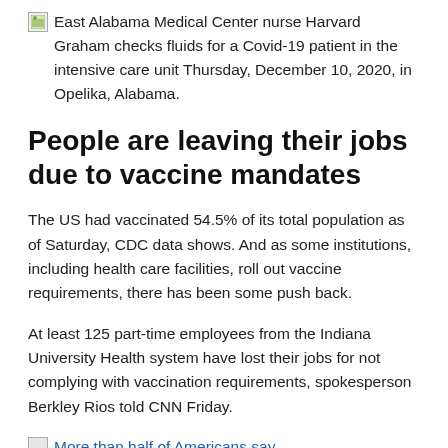East Alabama Medical Center nurse Harvard Graham checks fluids for a Covid-19 patient in the intensive care unit Thursday, December 10, 2020, in Opelika, Alabama.
People are leaving their jobs due to vaccine mandates
The US had vaccinated 54.5% of its total population as of Saturday, CDC data shows. And as some institutions, including health care facilities, roll out vaccine requirements, there has been some push back.
At least 125 part-time employees from the Indiana University Health system have lost their jobs for not complying with vaccination requirements, spokesperson Berkley Rios told CNN Friday.
More than half of Americans say ...